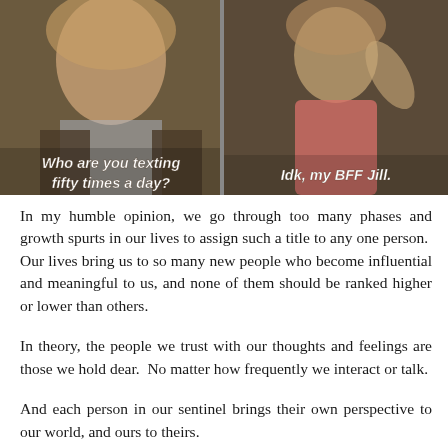[Figure (photo): Two-panel image: left panel shows a woman with blonde hair and text overlay 'Who are you texting fifty times a day?'; right panel shows a woman in a pink/coral dress with text overlay 'Idk, my BFF Jill.']
In my humble opinion, we go through too many phases and growth spurts in our lives to assign such a title to any one person.  Our lives bring us to so many new people who become influential and meaningful to us, and none of them should be ranked higher or lower than others.
In theory, the people we trust with our thoughts and feelings are those we hold dear.  No matter how frequently we interact or talk.
And each person in our sentinel brings their own perspective to our world, and ours to theirs.